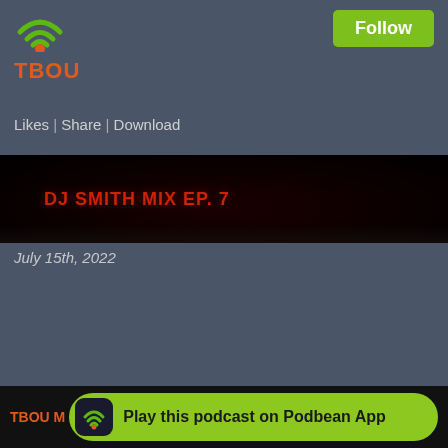[Figure (logo): TBOU podcast logo with wifi/radio signal icon in green and orange dot, and TBOU text in orange]
Follow
Likes | Share | Download
[Figure (photo): Dark/black episode thumbnail with DJ SMITH MIX EP. 7 in red text]
July 15th, 2022
Let's go International (World) Dj Smith Mixx It Up, showing the love on
Likes | Share | Download
Play this podcast on Podbean App